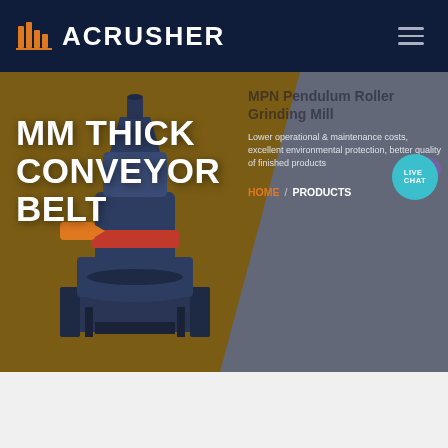ACRUSHER
[Figure (screenshot): ACRUSHER website screenshot showing a product hero section with MM THICK CONVEYOR BELT title, an industrial grinding mill machine image, MPN Pendulum Roller Grinding Mill product info, HOME / PRODUCTS breadcrumb, and a Live Chat button]
MM THICK CONVEYOR BELT
MPN Pendulum Roller Grinding Mill
Lower operational & maintenance costs, excellent environmental protection, better quality of finished products
HOME / PRODUCTS